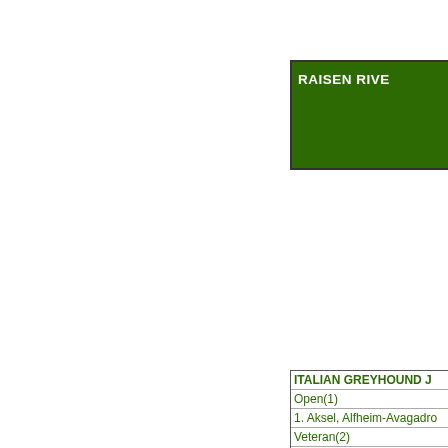RAISEN RIVE
ITALIAN GREYHOUND J
Open(1)
1. Aksel, Alfheim-Avagadro
Veteran(2)
1. Luca, Luca Omodeo, LCh
2. Daron, Daron, FCh,VFCh
RHODESIAN RIDGEBAC
Open(2)
1. Iris, Sylvanridge'sNightC
2. Keira, Kumani's Bad Hab
SINGLES Judges: Anne Mi
Open(6, 1 NQ)
2. WH-Blink, Andauer Split
1. RR-Poppy, Rare Earth's R
3. WH-Peanut, Cariad's Sm